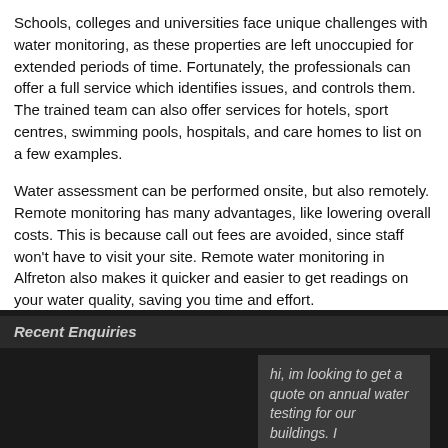Schools, colleges and universities face unique challenges with water monitoring, as these properties are left unoccupied for extended periods of time. Fortunately, the professionals can offer a full service which identifies issues, and controls them. The trained team can also offer services for hotels, sport centres, swimming pools, hospitals, and care homes to list on a few examples.
Water assessment can be performed onsite, but also remotely. Remote monitoring has many advantages, like lowering overall costs. This is because call out fees are avoided, since staff won't have to visit your site. Remote water monitoring in Alfreton also makes it quicker and easier to get readings on your water quality, saving you time and effort.
Last Updated 01/09/2022
Recent Enquiries
hi, im looking to get a quote on annual water testing for our buildings. I